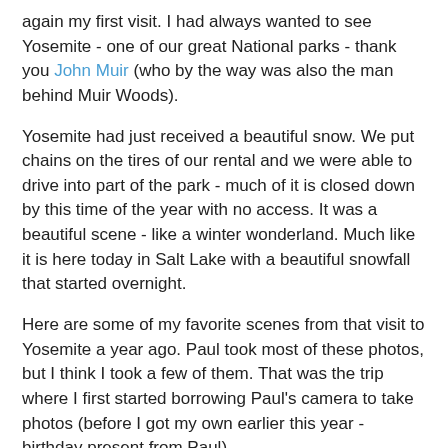again my first visit. I had always wanted to see Yosemite - one of our great National parks - thank you John Muir (who by the way was also the man behind Muir Woods).
Yosemite had just received a beautiful snow. We put chains on the tires of our rental and we were able to drive into part of the park - much of it is closed down by this time of the year with no access. It was a beautiful scene - like a winter wonderland. Much like it is here today in Salt Lake with a beautiful snowfall that started overnight.
Here are some of my favorite scenes from that visit to Yosemite a year ago. Paul took most of these photos, but I think I took a few of them. That was the trip where I first started borrowing Paul's camera to take photos (before I got my own earlier this year - birthday present from Paul).
Have you ever visited Yosemite? What did you think?
[Figure (photo): Snow-covered trees in Yosemite, winter scene with conifer trees dusted in white snow against a light sky]